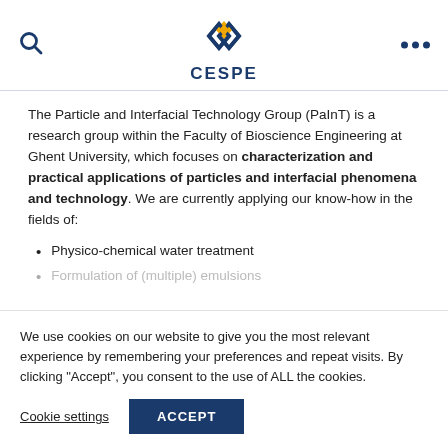[Figure (logo): CESPE logo with interlocking diamond shapes in dark blue and gold/orange colors, text 'CESPE' below in dark blue]
The Particle and Interfacial Technology Group (PaInT) is a research group within the Faculty of Bioscience Engineering at Ghent University, which focuses on characterization and practical applications of particles and interfacial phenomena and technology. We are currently applying our know-how in the fields of:
Physico-chemical water treatment
Formulation of (multiple) emulsions
We use cookies on our website to give you the most relevant experience by remembering your preferences and repeat visits. By clicking “Accept”, you consent to the use of ALL the cookies.